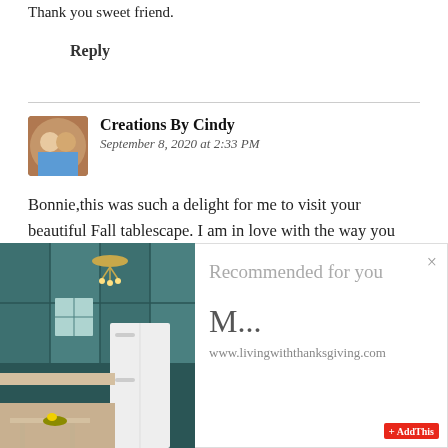Thank you sweet friend.
Reply
Creations By Cindy
September 8, 2020 at 2:33 PM
Bonnie,this was such a delight for me to visit your beautiful Fall tablescape. I am in love with the way you incorporated different things together like you did. I am in awe at how those lovely cheetah dishes look so good with the
[Figure (photo): Kitchen interior with teal/turquoise cabinets, chandelier, and white refrigerator]
Recommended for you
M...
www.livingwithtthanksgiving.com
AddThis